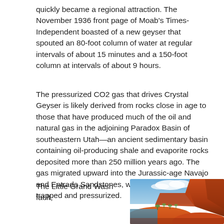quickly became a regional attraction. The November 1936 front page of Moab's Times-Independent boasted of a new geyser that spouted an 80-foot column of water at regular intervals of about 15 minutes and a 150-foot column at intervals of about 9 hours.
The pressurized CO2 gas that drives Crystal Geyser is likely derived from rocks close in age to those that have produced much of the oil and natural gas in the adjoining Paradox Basin of southeastern Utah—an ancient sedimentary basin containing oil-producing shale and evaporite rocks deposited more than 250 million years ago. The gas migrated upward into the Jurassic-age Navajo and Entrada Sandstones, where it became trapped and pressurized.
The Little Grand Wash fault,
[Figure (photo): Photograph of reddish-orange sandstone cliffs and rocky terrain with blue sky and sparse vegetation near a body of water, likely near Crystal Geyser in Utah.]